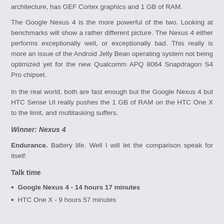architecture, has GEF Cortex graphics and 1 GB of RAM.
The Google Nexus 4 is the more powerful of the two. Looking at benchmarks will show a rather different picture. The Nexus 4 either performs exceptionally well, or exceptionally bad. This really is more an issue of the Android Jelly Bean operating system not being optimized yet for the new Qualcomm APQ 8064 Snapdragon S4 Pro chipset.
In the real world, both are fast enough but the Google Nexus 4 but HTC Sense UI really pushes the 1 GB of RAM on the HTC One X to the limit, and multitasking suffers.
Winner: Nexus 4
Endurance. Battery life. Well I will let the comparison speak for itself:
Talk time
Google Nexus 4 - 14 hours 17 minutes
HTC One X - 9 hours 57 minutes